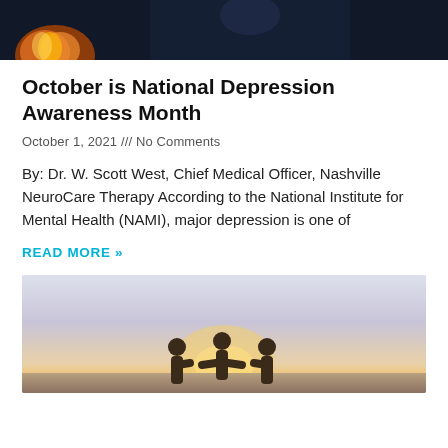[Figure (photo): Top portion of a photo showing a person against a dark background with fire/flames visible at the bottom left]
October is National Depression Awareness Month
October 1, 2021 /// No Comments
By: Dr. W. Scott West, Chief Medical Officer, Nashville NeuroCare Therapy According to the National Institute for Mental Health (NAMI), major depression is one of
READ MORE »
[Figure (photo): Bottom portion showing silhouettes of three people with arms around each other against a warm sunset background]